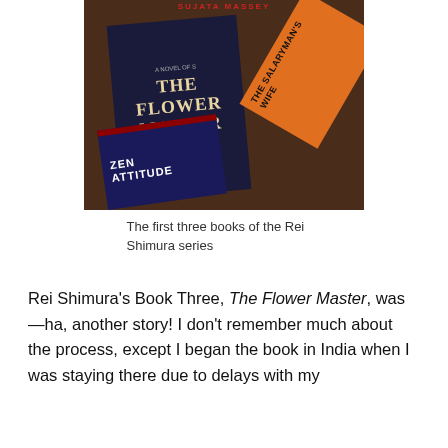[Figure (photo): Photo of three books from the Rei Shimura series by Sujata Massey laid on a dark wooden surface: The Flower Master, The Salaryman's Wife, and Zen Attitude]
The first three books of the Rei Shimura series
Rei Shimura’s Book Three, The Flower Master, was—ha, another story! I don’t remember much about the process, except I began the book in India when I was staying there due to delays with my